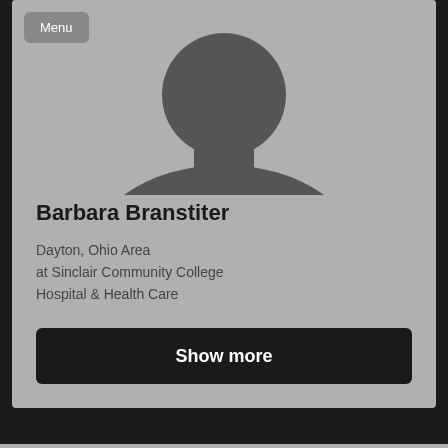[Figure (photo): Generic gray silhouette avatar placeholder image — head and shoulders of a person in dark gray against lighter gray background]
Menu
Barbara Branstiter
Dayton, Ohio Area
at Sinclair Community College
Hospital & Health Care
Show more